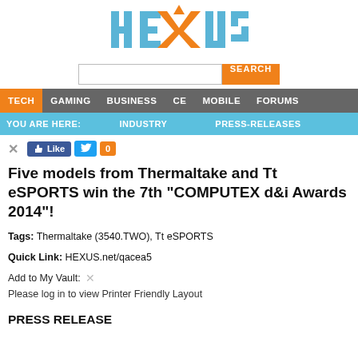[Figure (logo): HEXUS logo with orange X letter and blue HUS letters]
[Figure (other): Search bar with text input and orange SEARCH button]
TECH  GAMING  BUSINESS  CE  MOBILE  FORUMS
YOU ARE HERE:  INDUSTRY  PRESS-RELEASES
[Figure (other): Social share buttons: X icon, Like button, Twitter bird icon, 0 count in orange]
Five models from Thermaltake and Tt eSPORTS win the 7th “COMPUTEX d&i Awards 2014”!
Tags: Thermaltake (3540.TWO), Tt eSPORTS
Quick Link: HEXUS.net/qacea5
Add to My Vault:
Please log in to view Printer Friendly Layout
PRESS RELEASE